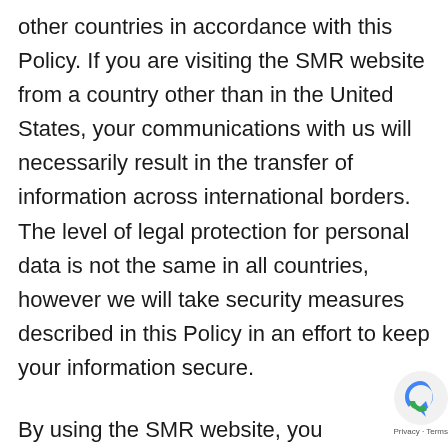other countries in accordance with this Policy. If you are visiting the SMR website from a country other than in the United States, your communications with us will necessarily result in the transfer of information across international borders. The level of legal protection for personal data is not the same in all countries, however we will take security measures described in this Policy in an effort to keep your information secure.
By using the SMR website, you understand that your personal data will be stored and